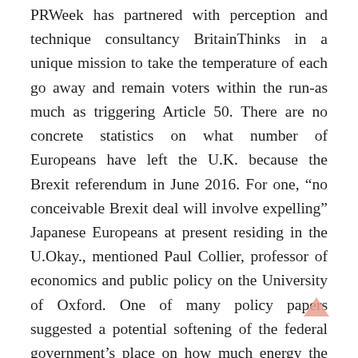PRWeek has partnered with perception and technique consultancy BritainThinks in a unique mission to take the temperature of each go away and remain voters within the run-as much as triggering Article 50. There are no concrete statistics on what number of Europeans have left the U.K. because the Brexit referendum in June 2016. For one, “no conceivable Brexit deal will involve expelling” Japanese Europeans at present residing in the U.Okay., mentioned Paul Collier, professor of economics and public policy on the University of Oxford. One of many policy papers suggested a potential softening of the federal government’s place on how much energy the European courts ought to have on UK regulation after Brexit.
There’s a determination by politicians in Brussels, Paris, and so on. Berlin, to make the process of...